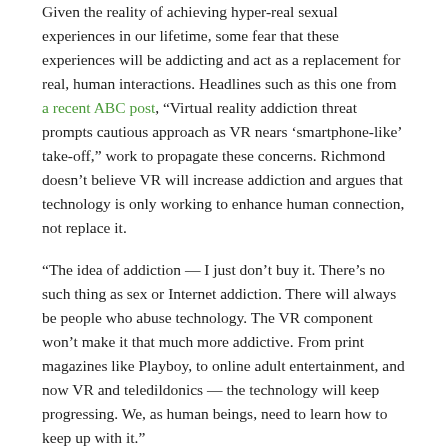Given the reality of achieving hyper-real sexual experiences in our lifetime, some fear that these experiences will be addicting and act as a replacement for real, human interactions. Headlines such as this one from a recent ABC post, “Virtual reality addiction threat prompts cautious approach as VR nears ‘smartphone-like’ take-off,” work to propagate these concerns. Richmond doesn’t believe VR will increase addiction and argues that technology is only working to enhance human connection, not replace it.
“The idea of addiction — I just don’t buy it. There’s no such thing as sex or Internet addiction. There will always be people who abuse technology. The VR component won’t make it that much more addictive. From print magazines like Playboy, to online adult entertainment, and now VR and teledildonics — the technology will keep progressing. We, as human beings, need to learn how to keep up with it.”